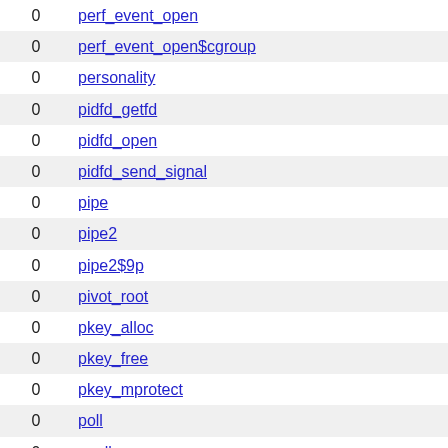|  |  |
| --- | --- |
| 0 | perf_event_open |
| 0 | perf_event_open$cgroup |
| 0 | personality |
| 0 | pidfd_getfd |
| 0 | pidfd_open |
| 0 | pidfd_send_signal |
| 0 | pipe |
| 0 | pipe2 |
| 0 | pipe2$9p |
| 0 | pivot_root |
| 0 | pkey_alloc |
| 0 | pkey_free |
| 0 | pkey_mprotect |
| 0 | poll |
| 0 | ppoll |
| 0 | prctl$0 |
| 0 | prctl$PR_CAPBSET_DROP |
| 0 | prctl$PR_CAPBSET_READ |
| 0 | prctl$PR_CAP_AMBIENT |
| 0 | prctl$PR_GET_CHILD_SUBREAPER |
| 0 | prctl$PR_GET_DUMPABLE |